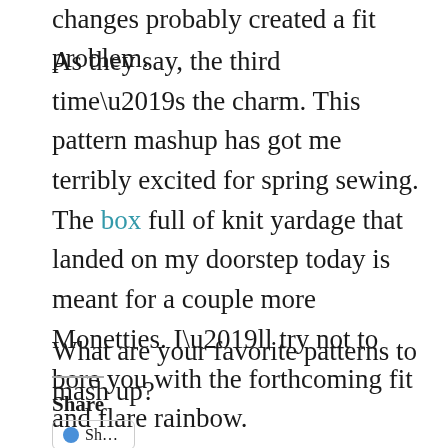changes probably created a fit problem.
As they say, the third time’s the charm. This pattern mashup has got me terribly excited for spring sewing. The box full of knit yardage that landed on my doorstep today is meant for a couple more Monetties. I’ll try not to bore you with the forthcoming fit and flare rainbow.
What are your favorite patterns to mash up?
Share